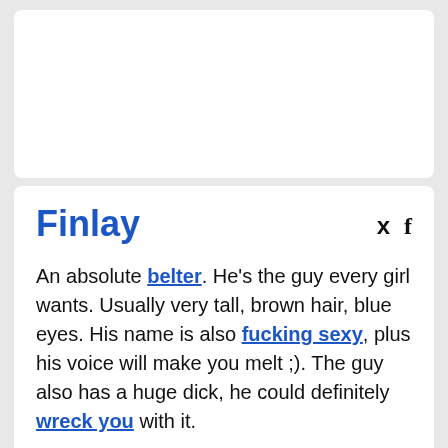Finlay
An absolute belter. He's the guy every girl wants. Usually very tall, brown hair, blue eyes. His name is also fucking sexy, plus his voice will make you melt ;). The guy also has a huge dick, he could definitely wreck you with it.
Did you see Finlay over there? What a babe!